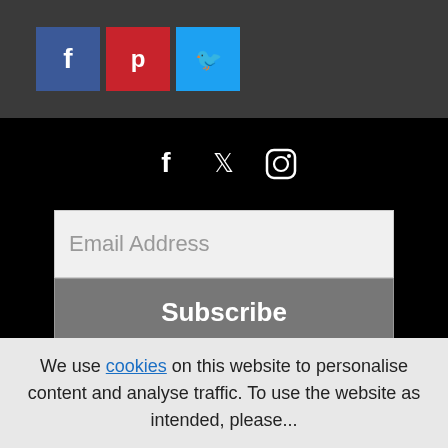[Figure (logo): Top dark bar with three social media icon buttons: Facebook (blue, 'f'), Pinterest (red, 'p'), Twitter (light blue, bird icon)]
[Figure (logo): Black background section with three social media icons centered: Facebook, Twitter, Instagram]
Email Address
Subscribe
Militaria | Web design for Militaria, War Collectables & Memorabilia
We use cookies on this website to personalise content and analyse traffic. To use the website as intended, please...